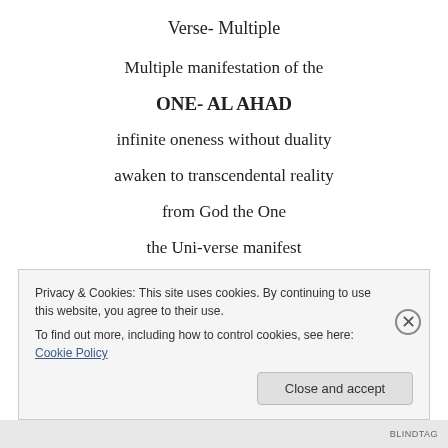Verse- Multiple
Multiple manifestation of the
ONE- AL AHAD
infinite oneness without duality
awaken to transcendental reality
from God the One
the Uni-verse manifest
Privacy & Cookies: This site uses cookies. By continuing to use this website, you agree to their use.
To find out more, including how to control cookies, see here: Cookie Policy
Close and accept